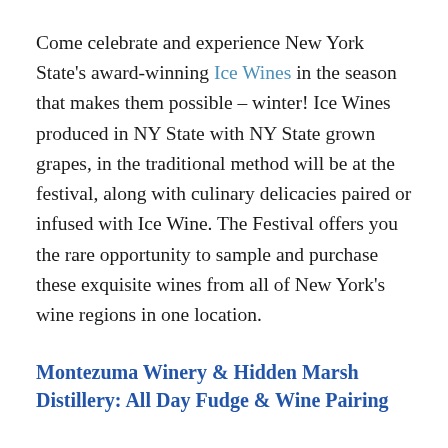Come celebrate and experience New York State's award-winning Ice Wines in the season that makes them possible – winter! Ice Wines produced in NY State with NY State grown grapes, in the traditional method will be at the festival, along with culinary delicacies paired or infused with Ice Wine. The Festival offers you the rare opportunity to sample and purchase these exquisite wines from all of New York's wine regions in one location.
Montezuma Winery & Hidden Marsh Distillery: All Day Fudge & Wine Pairing